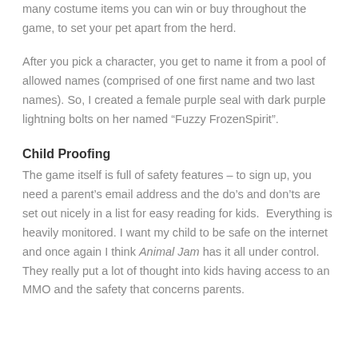many costume items you can win or buy throughout the game, to set your pet apart from the herd.
After you pick a character, you get to name it from a pool of allowed names (comprised of one first name and two last names). So, I created a female purple seal with dark purple lightning bolts on her named “Fuzzy FrozenSpirit”.
Child Proofing
The game itself is full of safety features – to sign up, you need a parent’s email address and the do’s and don’ts are set out nicely in a list for easy reading for kids.  Everything is heavily monitored. I want my child to be safe on the internet and once again I think Animal Jam has it all under control. They really put a lot of thought into kids having access to an MMO and the safety that concerns parents.